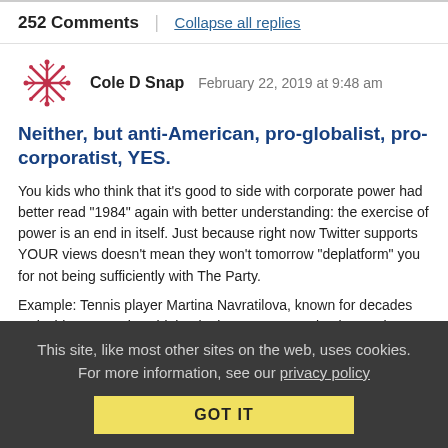252 Comments | Collapse all replies
Cole D Snap   February 22, 2019 at 9:48 am
Neither, but anti-American, pro-globalist, pro-corporatist, YES.
You kids who think that it's good to side with corporate power had better read "1984" again with better understanding: the exercise of power is an end in itself. Just because right now Twitter supports YOUR views doesn't mean they won't tomorrow "deplatform" you for not being sufficiently with The Party.
Example: Tennis player Martina Navratilova, known for decades as lesbian, recently said that letting "trans" people play against
This site, like most other sites on the web, uses cookies. For more information, see our privacy policy